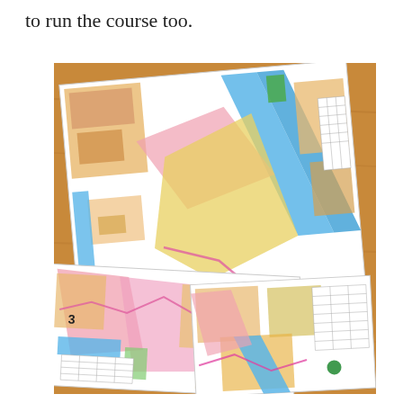to run the course too.
[Figure (photo): A photograph of multiple colorful orienteering maps spread out on a wooden table. The maps show urban areas with orange, yellow, pink, blue and green markings indicating different terrain features. The maps appear to be for a running/orienteering course.]